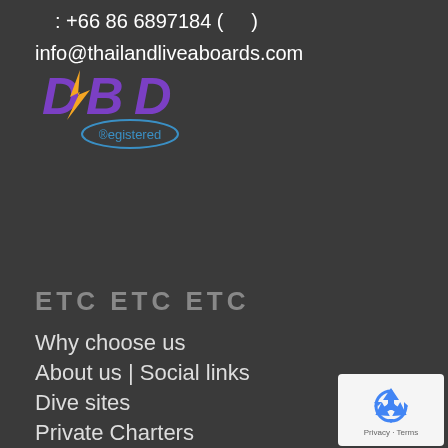: +66 86 6897184 (  )
info@thailandliveaboards.com
[Figure (logo): DBD Registered logo — purple and orange stylized 'DBD' lettering with 'Registered' text in blue circle beneath]
ETC ETC ETC
Why choose us
About us | Social links
Dive sites
Private Charters
Activites and tours
Accommodation
[Figure (logo): Google reCAPTCHA badge with recycling arrow icon and 'Privacy - Terms' text on white background]